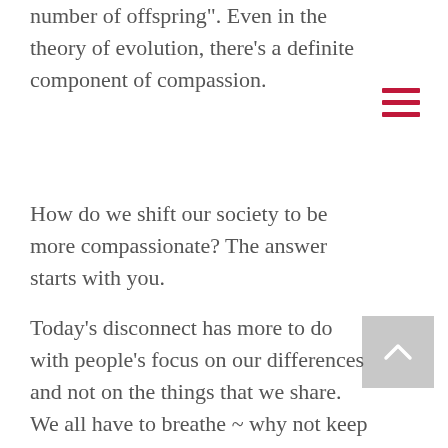number of offspring". Even in the theory of evolution, there's a definite component of compassion.
How do we shift our society to be more compassionate? The answer starts with you.
Today's disconnect has more to do with people's focus on our differences and not on the things that we share. We all have to breathe ~ why not keep the air clean? We all have to eat ~ why not honor the soil and its function to grow our food? We all need water ~ why not stop polluting it with everything we pour down the drain or the poisons we use that eventually drain into our water sources? We are all human beings with